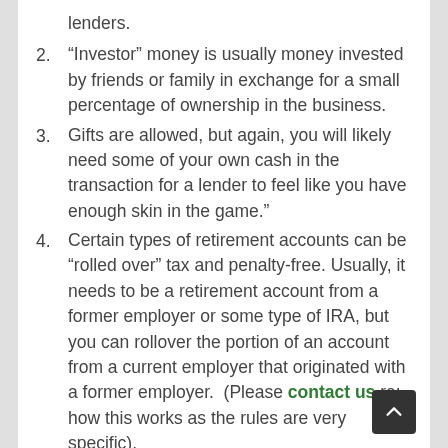lenders.
2. “Investor” money is usually money invested by friends or family in exchange for a small percentage of ownership in the business.
3. Gifts are allowed, but again, you will likely need some of your own cash in the transaction for a lender to feel like you have enough skin in the game.”
4. Certain types of retirement accounts can be “rolled over” tax and penalty-free. Usually, it needs to be a retirement account from a former employer or some type of IRA, but you can rollover the portion of an account from a current employer that originated with a former employer.  (Please contact us re: how this works as the rules are very specific).